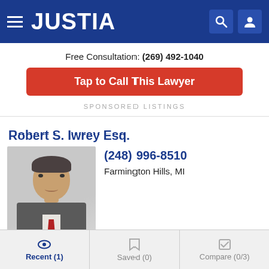JUSTIA
Free Consultation: (269) 492-1040
Tap to Call This Lawyer
SPONSORED LISTINGS
Robert S. Iwrey Esq.
[Figure (photo): Headshot photo of Robert S. Iwrey Esq. wearing a grey suit with a red tie. A gold PREMIUM badge is shown at the bottom of the photo.]
(248) 996-8510
Farmington Hills, MI
Website | Call | Email
Recent (1) | Saved (0) | Compare (0/3)